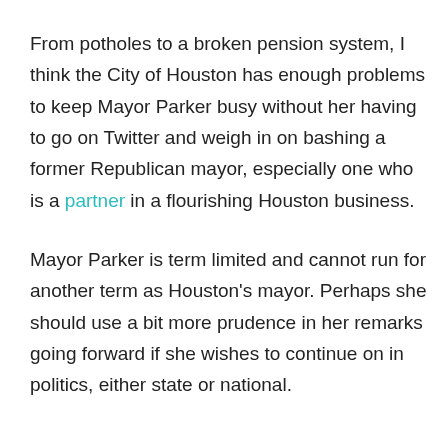From potholes to a broken pension system, I think the City of Houston has enough problems to keep Mayor Parker busy without her having to go on Twitter and weigh in on bashing a former Republican mayor, especially one who is a partner in a flourishing Houston business.
Mayor Parker is term limited and cannot run for another term as Houston's mayor. Perhaps she should use a bit more prudence in her remarks going forward if she wishes to continue on in politics, either state or national.